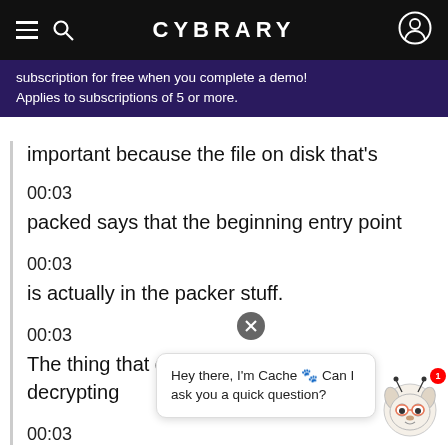CYBRARY
subscription for free when you complete a demo! Applies to subscriptions of 5 or more.
important because the file on disk that's
00:03
packed says that the beginning entry point
00:03
is actually in the packer stuff.
00:03
The thing that does the unpacking, the decrypting
00:03
Hey there, I'm Cache 🐾 Can I ask you a quick question?